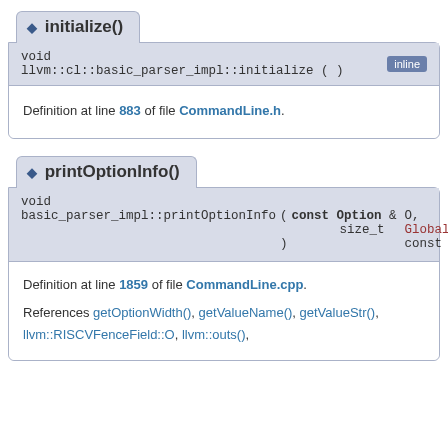initialize()
void llvm::cl::basic_parser_impl::initialize ( )   inline
Definition at line 883 of file CommandLine.h.
printOptionInfo()
void basic_parser_impl::printOptionInfo ( const Option & O, size_t GlobalWidth ) const
Definition at line 1859 of file CommandLine.cpp.
References getOptionWidth(), getValueName(), getValueStr(), llvm::RISCVFenceField::O, llvm::outs(),